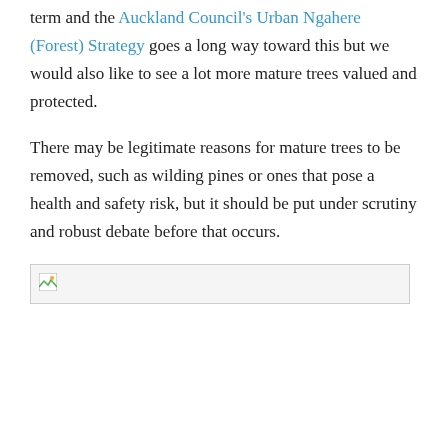term and the Auckland Council's Urban Ngahere (Forest) Strategy goes a long way toward this but we would also like to see a lot more mature trees valued and protected.
There may be legitimate reasons for mature trees to be removed, such as wilding pines or ones that pose a health and safety risk, but it should be put under scrutiny and robust debate before that occurs.
[Figure (other): Broken image placeholder]